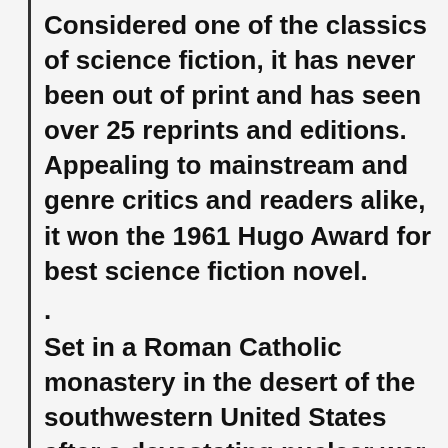Considered one of the classics of science fiction, it has never been out of print and has seen over 25 reprints and editions. Appealing to mainstream and genre critics and readers alike, it won the 1961 Hugo Award for best science fiction novel.
.
Set in a Roman Catholic monastery in the desert of the southwestern United States after a devastating nuclear war, the story spans thousands of years as civilization rebuilds itself. The monks of the Albertian Order of Leibowitz take up the mission of preserving the surviving remnants of man's scientific